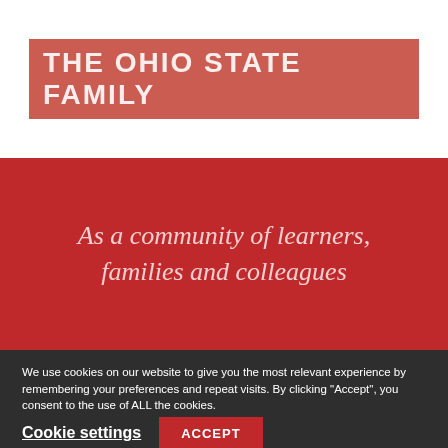[Figure (logo): The Ohio State Family logo on a red background with white bold uppercase text]
As a community of learners, families and colleagues
We use cookies on our website to give you the most relevant experience by remembering your preferences and repeat visits. By clicking “Accept”, you consent to the use of ALL the cookies.
Cookie settings  ACCEPT